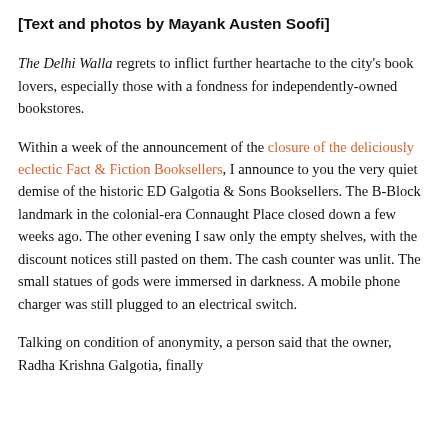[Text and photos by Mayank Austen Soofi]
The Delhi Walla regrets to inflict further heartache to the city's book lovers, especially those with a fondness for independently-owned bookstores.
Within a week of the announcement of the closure of the deliciously eclectic Fact & Fiction Booksellers, I announce to you the very quiet demise of the historic ED Galgotia & Sons Booksellers. The B-Block landmark in the colonial-era Connaught Place closed down a few weeks ago. The other evening I saw only the empty shelves, with the discount notices still pasted on them. The cash counter was unlit. The small statues of gods were immersed in darkness. A mobile phone charger was still plugged to an electrical switch.
Talking on condition of anonymity, a person said that the owner, Radha Krishna Galgotia, finally